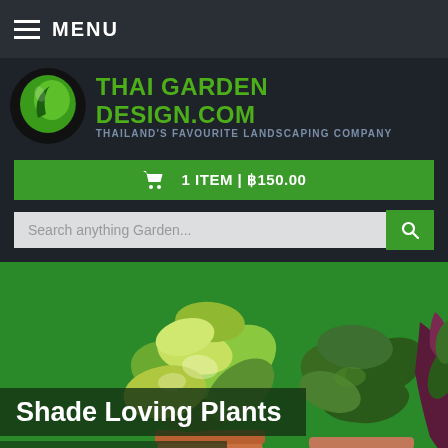MENU
[Figure (logo): Thai Garden Design.com logo with green leaf icon, brand name in green, tagline in grey]
1 ITEM | ฿150.00
Search anything Garden...
[Figure (photo): Two potted plants on a green background — a variegated pothos in a terracotta pot and a dark green leafed plant in a salmon pink pot, with a purple-stemmed plant partially visible on the right]
Shade Loving Plants
Great Variety of Shade Lovers